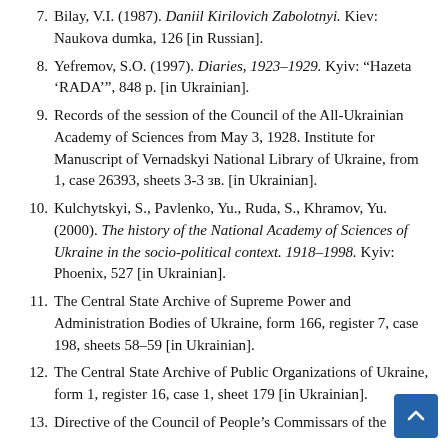7. Bilay, V.I. (1987). Daniil Kirilovich Zabolotnyi. Kiev: Naukova dumka, 126 [in Russian].
8. Yefremov, S.O. (1997). Diaries, 1923–1929. Kyiv: “Hazeta ’RADA’”, 848 p. [in Ukrainian].
9. Records of the session of the Council of the All-Ukrainian Academy of Sciences from May 3, 1928. Institute for Manuscript of Vernadskyi National Library of Ukraine, from 1, case 26393, sheets 3-3 зв. [in Ukrainian].
10. Kulchytskyi, S., Pavlenko, Yu., Ruda, S., Khramov, Yu. (2000). The history of the National Academy of Sciences of Ukraine in the socio-political context. 1918–1998. Kyiv: Phoenix, 527 [in Ukrainian].
11. The Central State Archive of Supreme Power and Administration Bodies of Ukraine, form 166, register 7, case 198, sheets 58–59 [in Ukrainian].
12. The Central State Archive of Public Organizations of Ukraine, form 1, register 16, case 1, sheet 179 [in Ukrainian].
13. Directive of the Council of People’s Commissars of the